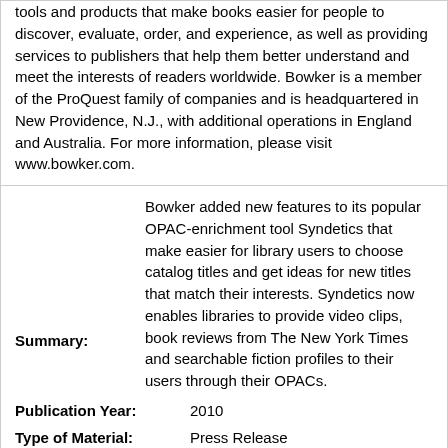tools and products that make books easier for people to discover, evaluate, order, and experience, as well as providing services to publishers that help them better understand and meet the interests of readers worldwide. Bowker is a member of the ProQuest family of companies and is headquartered in New Providence, N.J., with additional operations in England and Australia. For more information, please visit www.bowker.com.
Summary: Bowker added new features to its popular OPAC-enrichment tool Syndetics that make easier for library users to choose catalog titles and get ideas for new titles that match their interests. Syndetics now enables libraries to provide video clips, book reviews from The New York Times and searchable fiction profiles to their users through their OPACs.
Publication Year: 2010
Type of Material: Press Release
Language: English